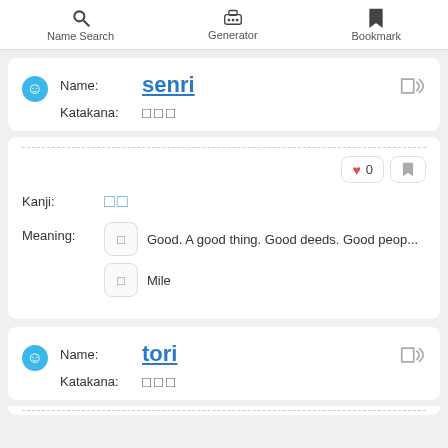Name Search | Generator | Bookmark
Name: senri
Katakana: □□□
Kanji: □□
Meaning: Good. A good thing. Good deeds. Good peop... | Mile
Name: tori
Katakana: □□□